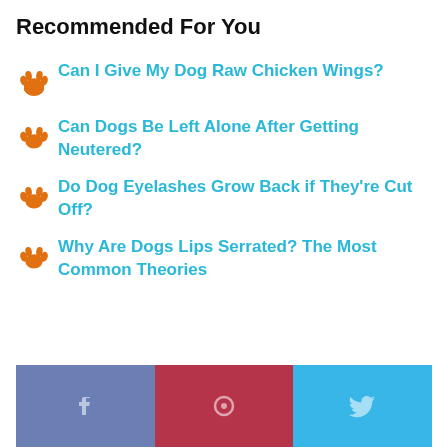Recommended For You
Can I Give My Dog Raw Chicken Wings?
Can Dogs Be Left Alone After Getting Neutered?
Do Dog Eyelashes Grow Back if They're Cut Off?
Why Are Dogs Lips Serrated? The Most Common Theories
[Figure (infographic): Social share buttons: Facebook (blue-grey), Pinterest (red), Twitter (blue)]